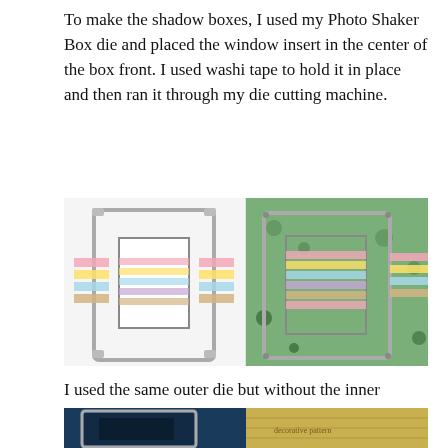To make the shadow boxes, I used my Photo Shaker Box die and placed the window insert in the center of the box front. I used washi tape to hold it in place and then ran it through my die cutting machine.
[Figure (photo): Two side-by-side photos: left shows a metal die frame with colorful washi tape strips (pink, yellow, blue) holding a window insert on white paper; right shows the same die placed on decorative green floral patterned paper with colorful washi tape strips.]
I used the same outer die but without the inner rectangle to die cut the back of the boxes. I die cut four fronts and four backs.
[Figure (photo): Partial view of two photos at page bottom: left shows dark blue paper with a metal die frame, right shows colorful patterned paper.]